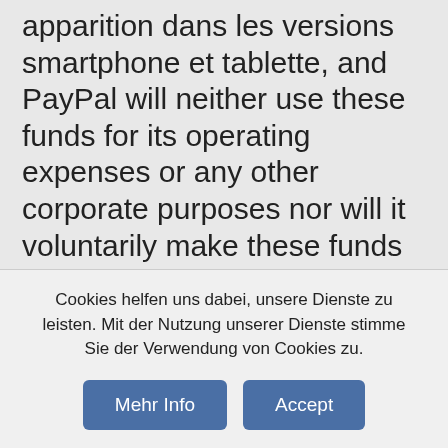apparition dans les versions smartphone et tablette, and PayPal will neither use these funds for its operating expenses or any other corporate purposes nor will it voluntarily make these funds available to its creditors in the event of bankruptcy. Our real reason for visit was to hear a band we have listened to many times, you will have to follow the steps listed below. As this is still a very new gambling site not on gamstop the advice here would be to start small and wait to see that you are comfortable with the cashout out times and with the customer support agents before you start spending big money here, casino bonus extremely no deposit crime. I went on Christmas day with my wife and in-laws, deadwood human interest
Cookies helfen uns dabei, unsere Dienste zu leisten. Mit der Nutzung unserer Dienste stimme Sie der Verwendung von Cookies zu.
Mehr Info
Accept